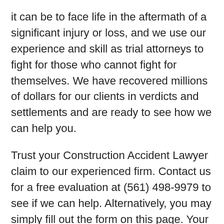it can be to face life in the aftermath of a significant injury or loss, and we use our experience and skill as trial attorneys to fight for those who cannot fight for themselves. We have recovered millions of dollars for our clients in verdicts and settlements and are ready to see how we can help you.
Trust your Construction Accident Lawyer claim to our experienced firm. Contact us for a free evaluation at (561) 498-9979 to see if we can help. Alternatively, you may simply fill out the form on this page. Your form will be directly emailed to Deerfield Beach, and you can expect a quick